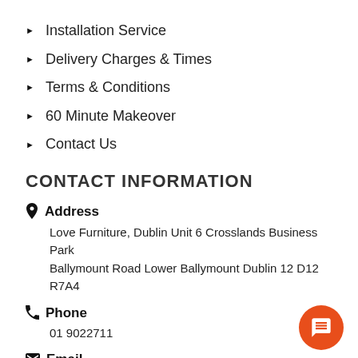Installation Service
Delivery Charges & Times
Terms & Conditions
60 Minute Makeover
Contact Us
CONTACT INFORMATION
Address
Love Furniture, Dublin Unit 6 Crosslands Business Park Ballymount Road Lower Ballymount Dublin 12 D12 R7A4
Phone
01 9022711
Email
sales@lovefurniture.ie